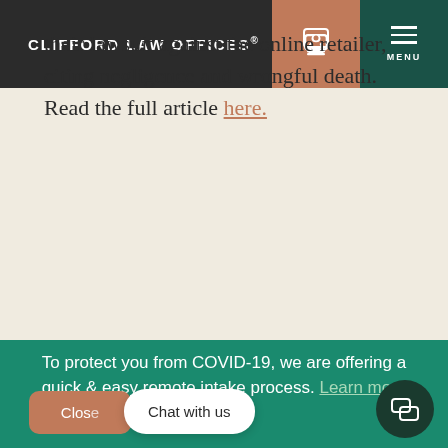CLIFFORD LAW OFFICES®
their lawsuit against the online retailer, citing negligence and wrongful death. Read the full article here.
To protect you from COVID-19, we are offering a quick & easy remote intake process. Learn more here.
[Figure (screenshot): Chat with us button and Close button overlay at bottom of page]